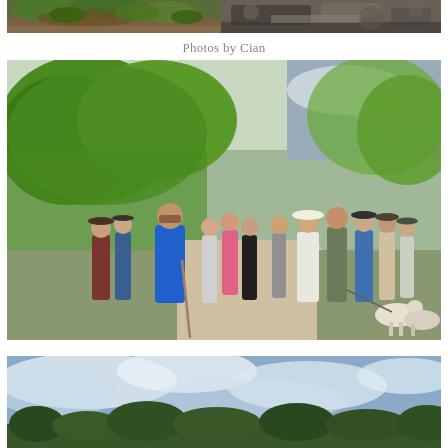[Figure (photo): Two side-by-side outdoor nature photos at the top: left photo shows green leaves and forest floor, right photo shows rocks and bark in dark tones.]
Photos by Cian
[Figure (photo): A group of hikers standing on a dirt trail surrounded by lush green trees and foliage. One person in a bright blue jacket stands prominently in the foreground. Several dogs are visible on the right side of the group.]
[Figure (photo): Partial view of an outdoor landscape with a blue cloudy sky and treetops visible at the bottom edge.]